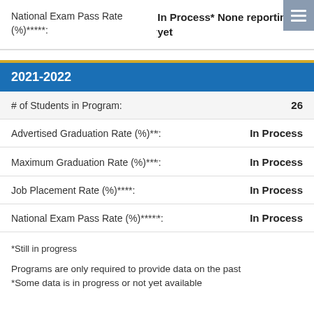| Field | Value |
| --- | --- |
| National Exam Pass Rate (%)*****:  | In Process* None reporting yet |
2021-2022
| Field | Value |
| --- | --- |
| # of Students in Program: | 26 |
| Advertised Graduation Rate (%)**: | In Process |
| Maximum Graduation Rate (%)***: | In Process |
| Job Placement Rate (%)****: | In Process |
| National Exam Pass Rate (%)*****:  | In Process |
*Still in progress
Programs are only required to provide data on the past *Some data is in progress or not yet available